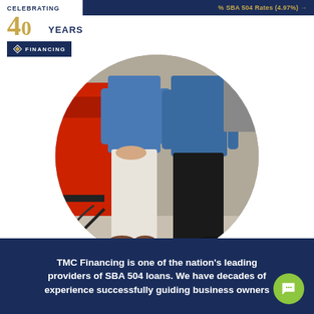% SBA 504 Rates (4.97%) →
[Figure (logo): TMC Financing logo with 'Celebrating 40 Years' text above and TMC Financing branding below]
Calculate Payments   Apply →  ≡
[Figure (photo): Two business owners (one in blue shirt and white pants, one in blue shirt and black pants) standing in an industrial/warehouse setting with red equipment visible in background, photo cropped in a circle]
TMC Financing is one of the nation's leading providers of SBA 504 loans. We have decades of experience successfully guiding business owners